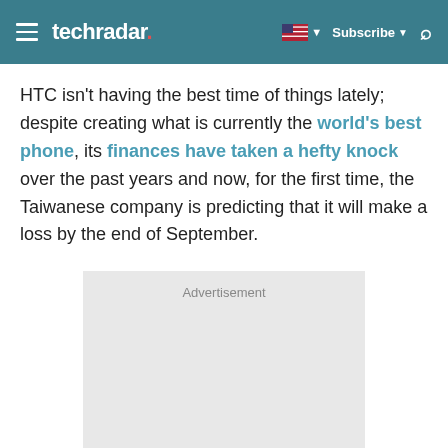techradar
HTC isn't having the best time of things lately; despite creating what is currently the world's best phone, its finances have taken a hefty knock over the past years and now, for the first time, the Taiwanese company is predicting that it will make a loss by the end of September.
[Figure (other): Advertisement placeholder box with light gray background]